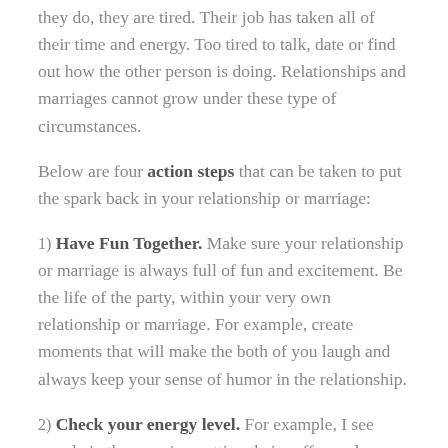they do, they are tired. Their job has taken all of their time and energy. Too tired to talk, date or find out how the other person is doing. Relationships and marriages cannot grow under these type of circumstances.
Below are four action steps that can be taken to put the spark back in your relationship or marriage:
1) Have Fun Together. Make sure your relationship or marriage is always full of fun and excitement. Be the life of the party, within your very own relationship or marriage. For example, create moments that will make the both of you laugh and always keep your sense of humor in the relationship.
2) Check your energy level. For example, I see people in the morning getting their coffee and energy drinks, to make sure they are alive and active on their job. People make it a priority to